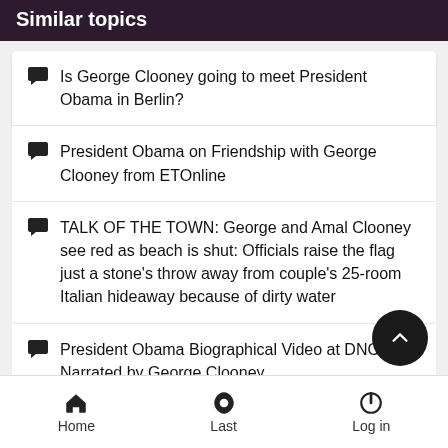Similar topics
Is George Clooney going to meet President Obama in Berlin?
President Obama on Friendship with George Clooney from ETOnline
TALK OF THE TOWN: George and Amal Clooney see red as beach is shut: Officials raise the flag just a stone's throw away from couple's 25-room Italian hideaway because of dirty water
President Obama Biographical Video at DNCC Narrated by George Clooney
Gossip: Meghan Markle pregnant, urging Amal Clooney to throw another baby shower:
Home  Last  Log in